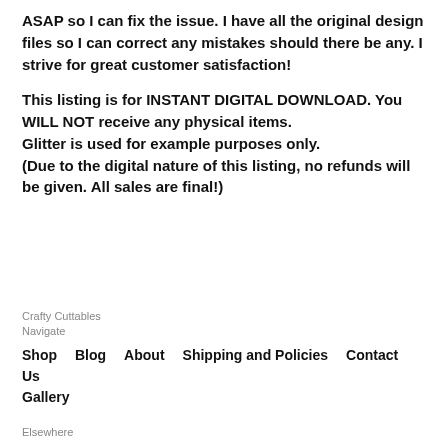ASAP so I can fix the issue. I have all the original design files so I can correct any mistakes should there be any. I strive for great customer satisfaction!
This listing is for INSTANT DIGITAL DOWNLOAD. You WILL NOT receive any physical items.
Glitter is used for example purposes only.
(Due to the digital nature of this listing, no refunds will be given. All sales are final!)
Crafty Cuttables
Navigate
Shop  Blog  About  Shipping and Policies  Contact Us  Gallery
Elsewhere